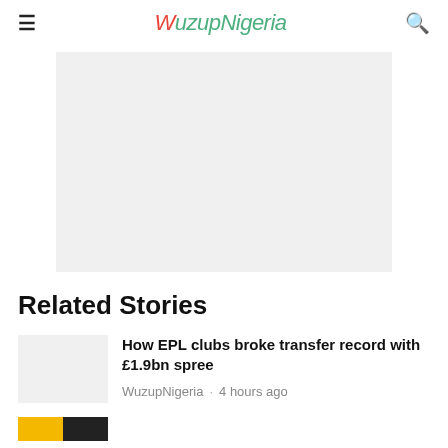≡ WuzupNigeria 🔍
[Figure (other): Gray advertisement placeholder rectangle]
Related Stories
[Figure (photo): Thumbnail image placeholder for EPL clubs story]
How EPL clubs broke transfer record with £1.9bn spree
WuzupNigeria · 4 hours ago
[Figure (photo): Partial thumbnail showing yellow and dark colored image]